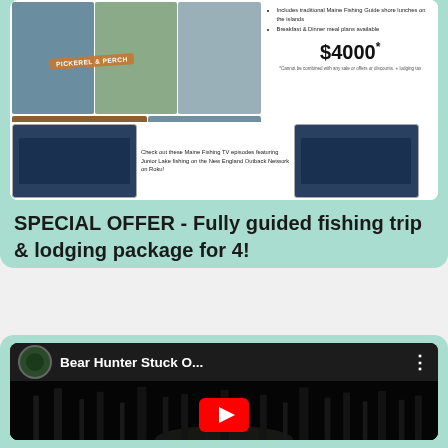[Figure (photo): Fishing collage showing people fishing, campfire cooking, and Pickerel & Perch banner with price $4000* and bullet points about Maine Fishing Guide shore lunches and meal plans]
SPECIAL OFFER - Fully guided fishing trip & lodging package for 4!
[Figure (screenshot): YouTube video thumbnail showing Bear Hunter Stuck O... with dark forest/trees background and channel logo]